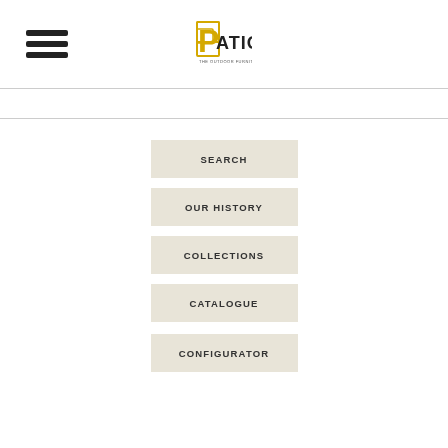[Figure (logo): Patio furniture brand logo with stylized P and text 'PATIO' with tagline below]
SEARCH
OUR HISTORY
COLLECTIONS
CATALOGUE
CONFIGURATOR